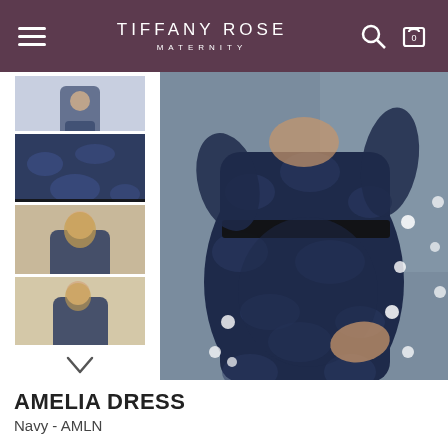TIFFANY ROSE MATERNITY
[Figure (photo): E-commerce product page screenshot showing Tiffany Rose Maternity website with main product image of the Amelia Dress in Navy lace with black satin belt on pregnant model, and four thumbnail images on the left side showing different views of the dress.]
AMELIA DRESS
Navy - AMLN